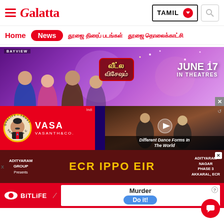Galatta — TAMIL navigation header with Home, News, and Tamil menu items
[Figure (screenshot): Veetla Vishesham movie banner — JUNE 17 IN THEATRES, group of actors on purple/festive background, BAYVIEW label top left]
[Figure (screenshot): Vasanth & Co advertisement — red background, circular portrait with Quality Trust branding, VASANTH text in white]
[Figure (screenshot): Vinayaga Special advertisement — dark blue background with yellow and red text]
[Figure (screenshot): Video overlay showing Different Dance Forms In The World with play button, dark background with dancers]
[Figure (screenshot): Adityaram Group ECR IPPO EIR advertisement — dark maroon background with yellow large text, Adityaram Nagar Phase 3 Akkaral ECR]
[Figure (screenshot): BitLife app ad on red background with Murder / Do it! call to action on white panel]